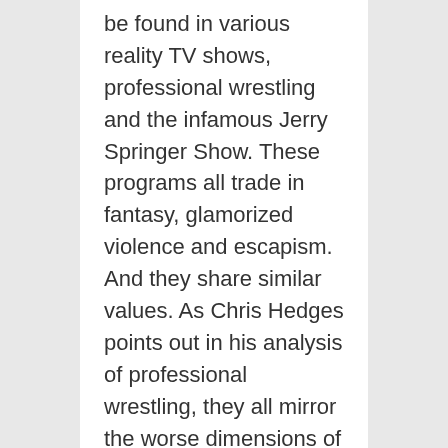be found in various reality TV shows, professional wrestling and the infamous Jerry Springer Show. These programs all trade in fantasy, glamorized violence and escapism. And they share similar values. As Chris Hedges points out in his analysis of professional wrestling, they all mirror the worse dimensions of an unchecked and unregulated market society in which “winning is all that matters.